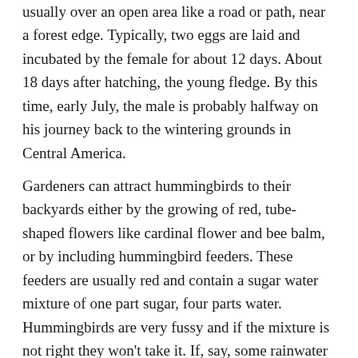usually over an open area like a road or path, near a forest edge. Typically, two eggs are laid and incubated by the female for about 12 days. About 18 days after hatching, the young fledge. By this time, early July, the male is probably halfway on his journey back to the wintering grounds in Central America.
Gardeners can attract hummingbirds to their backyards either by the growing of red, tube-shaped flowers like cardinal flower and bee balm, or by including hummingbird feeders. These feeders are usually red and contain a sugar water mixture of one part sugar, four parts water. Hummingbirds are very fussy and if the mixture is not right they won't take it. If, say, some rainwater gets into the the solution, they won't take it. The feeder solution must also be changed frequently, at least every other day or the mixture goes sour, especially in warm weather.